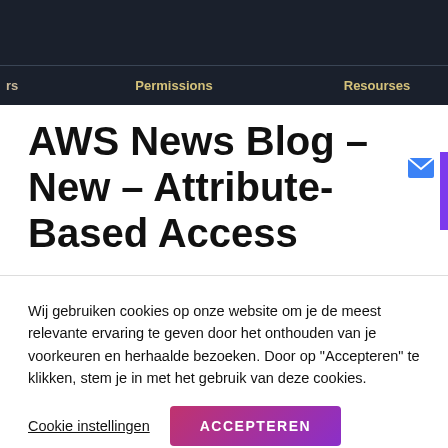[Figure (screenshot): Dark navigation header bar with columns labeled 'rs', 'Permissions', and 'Resourses' on a dark navy background]
AWS News Blog - New - Attribute-Based Access
Wij gebruiken cookies op onze website om je de meest relevante ervaring te geven door het onthouden van je voorkeuren en herhaalde bezoeken. Door op "Accepteren" te klikken, stem je in met het gebruik van deze cookies.
Cookie instellingen   ACCEPTEREN